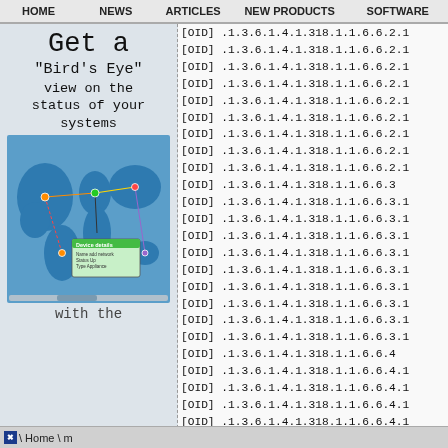HOME  NEWS  ARTICLES  NEW PRODUCTS  SOFTWARE
[Figure (illustration): Advertisement showing 'Get a Bird's Eye view on the status of your systems with the' text and a world map network monitoring illustration]
[OID] .1.3.6.1.4.1.318.1.1.6.6.2.1
[OID] .1.3.6.1.4.1.318.1.1.6.6.2.1
[OID] .1.3.6.1.4.1.318.1.1.6.6.2.1
[OID] .1.3.6.1.4.1.318.1.1.6.6.2.1
[OID] .1.3.6.1.4.1.318.1.1.6.6.2.1
[OID] .1.3.6.1.4.1.318.1.1.6.6.2.1
[OID] .1.3.6.1.4.1.318.1.1.6.6.2.1
[OID] .1.3.6.1.4.1.318.1.1.6.6.2.1
[OID] .1.3.6.1.4.1.318.1.1.6.6.2.1
[OID] .1.3.6.1.4.1.318.1.1.6.6.3
[OID] .1.3.6.1.4.1.318.1.1.6.6.3.1
[OID] .1.3.6.1.4.1.318.1.1.6.6.3.1
[OID] .1.3.6.1.4.1.318.1.1.6.6.3.1
[OID] .1.3.6.1.4.1.318.1.1.6.6.3.1
[OID] .1.3.6.1.4.1.318.1.1.6.6.3.1
[OID] .1.3.6.1.4.1.318.1.1.6.6.3.1
[OID] .1.3.6.1.4.1.318.1.1.6.6.3.1
[OID] .1.3.6.1.4.1.318.1.1.6.6.3.1
[OID] .1.3.6.1.4.1.318.1.1.6.6.3.1
[OID] .1.3.6.1.4.1.318.1.1.6.6.4
[OID] .1.3.6.1.4.1.318.1.1.6.6.4.1
[OID] .1.3.6.1.4.1.318.1.1.6.6.4.1
[OID] .1.3.6.1.4.1.318.1.1.6.6.4.1
[OID] .1.3.6.1.4.1.318.1.1.6.6.4.1
[OID] .1.3.6.1.4.1.318.1.1.6.6.4.1
\  Home \ m